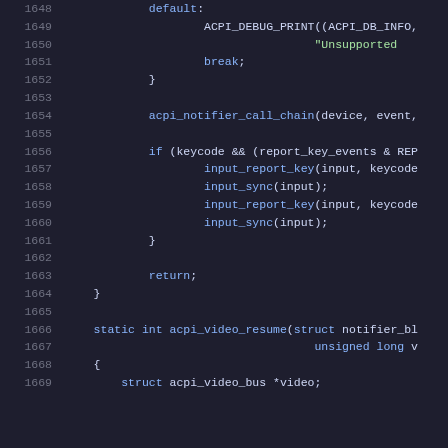[Figure (screenshot): Source code listing showing C code lines 1648-1669, with syntax highlighting on dark background. Code includes a switch default case with ACPI_DEBUG_PRINT, acpi_notifier_call_chain, input reporting key events, return statement, closing brace, and start of acpi_video_resume function.]